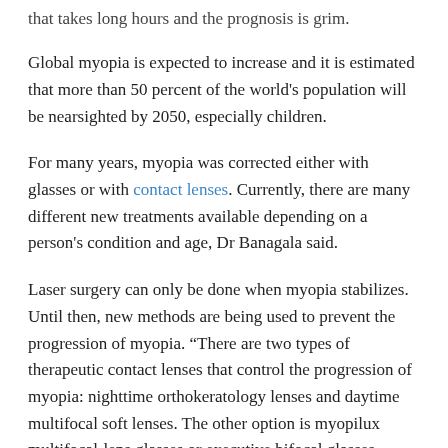that takes long hours and the prognosis is grim.
Global myopia is expected to increase and it is estimated that more than 50 percent of the world's population will be nearsighted by 2050, especially children.
For many years, myopia was corrected either with glasses or with contact lenses. Currently, there are many different new treatments available depending on a person's condition and age, Dr Banagala said.
Laser surgery can only be done when myopia stabilizes. Until then, new methods are being used to prevent the progression of myopia. “There are two types of therapeutic contact lenses that control the progression of myopia: nighttime orthokeratology lenses and daytime multifocal soft lenses. The other option is myopilux multifocal-lens glasses or executive bifocal glasses.
Recent research has found that dilute atropine eye drops can be used to prevent the progression of myopia in school-aged children. Currently, these drops are used in other countries. Recent research has shown that children should be encouraged to...